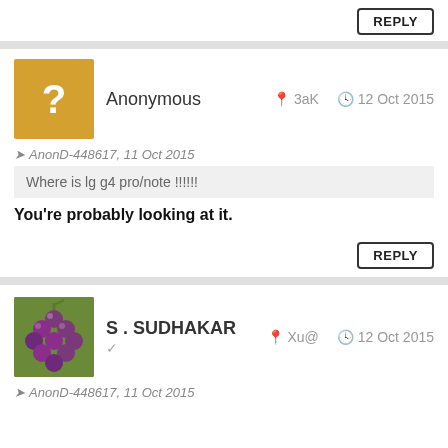REPLY
Anonymous  3aK  12 Oct 2015
AnonD-448617, 11 Oct 2015
Where is lg g4 pro/note !!!!!!
You're probably looking at it.
REPLY
S . SUDHAKAR  Xu@  12 Oct 2015
AnonD-448617, 11 Oct 2015